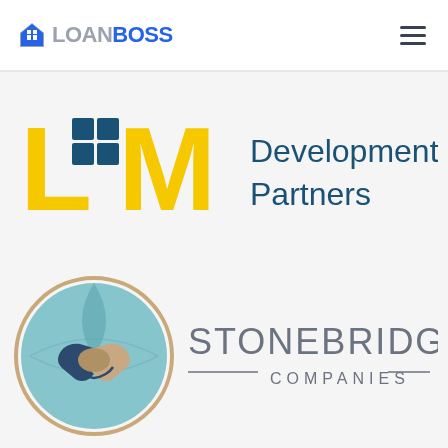[Figure (logo): LoanBoss logo with house icon, gray LOAN and blue BOSS text]
[Figure (logo): LM Development Partners logo with yellow L and M letters and blue grid squares]
[Figure (logo): Stonebridge Companies logo with circular globe/handshake icon and company name text]